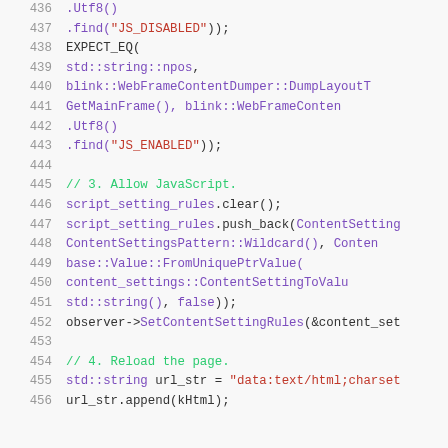[Figure (screenshot): Source code listing lines 436-456 showing C++ test code with line numbers, syntax highlighting in green for comments, purple for keywords and method names, red for string literals, and dark for other code.]